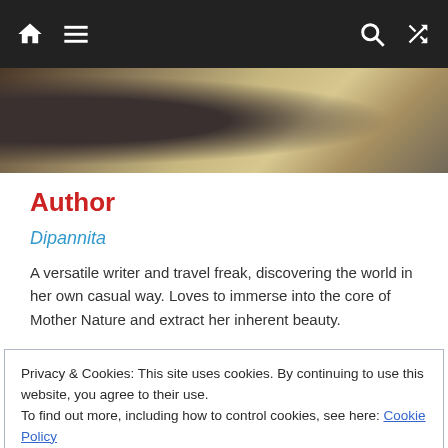[Figure (screenshot): Website navigation bar with dark background, home icon, hamburger menu icon on the left, and search and shuffle icons on the right]
[Figure (photo): Partial outdoor/nature photo showing rocky terrain and a figure in dark clothing]
Author
Dipannita
A versatile writer and travel freak, discovering the world in her own casual way. Loves to immerse into the core of Mother Nature and extract her inherent beauty.
Privacy & Cookies: This site uses cookies. By continuing to use this website, you agree to their use.
To find out more, including how to control cookies, see here: Cookie Policy
Close and accept